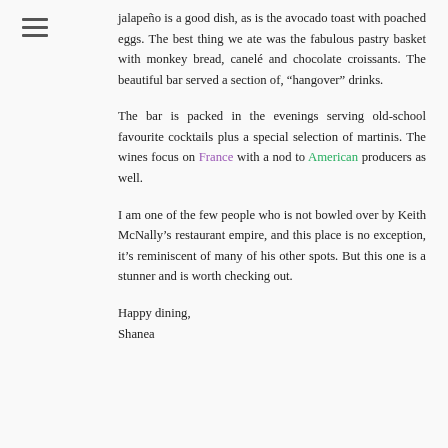jalapeño is a good dish, as is the avocado toast with poached eggs. The best thing we ate was the fabulous pastry basket with monkey bread, canelé and chocolate croissants. The beautiful bar served a section of, “hangover” drinks.
The bar is packed in the evenings serving old-school favourite cocktails plus a special selection of martinis. The wines focus on France with a nod to American producers as well.
I am one of the few people who is not bowled over by Keith McNally’s restaurant empire, and this place is no exception, it’s reminiscent of many of his other spots. But this one is a stunner and is worth checking out.
Happy dining,
Shanea